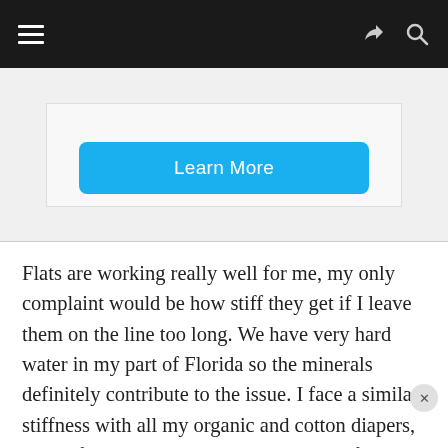Navigation bar with hamburger menu, share icon, and search icon
[Figure (screenshot): Advertisement box with a blue 'Learn More' button]
Flats are working really well for me, my only complaint would be how stiff they get if I leave them on the line too long. We have very hard water in my part of Florida so the minerals definitely contribute to the issue. I face a similar stiffness with all my organic and cotton diapers, so I'm fairly used to troubleshooting it. If I were using the dryer, I could toss them in with a wool dryer ball for a freshen up cycle and within minutes the softness would return. Since that's not an option this week (especially in the woods) I rely on my own manpower, and I break